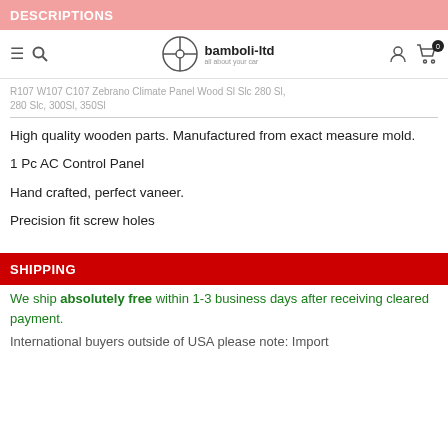DESCRIPTIONS
bamboli-ltd — all about your car
R107 W107 C107 Zebrano Climate Panel Wood Sl Slc 280 Sl, 280 Slc, 300Sl, 350Sl
High quality wooden parts. Manufactured from exact measure mold.
1 Pc AC Control Panel
Hand crafted, perfect vaneer.
Precision fit screw holes
SHIPPING
We ship absolutely free within 1-3 business days after receiving cleared payment.
International buyers outside of USA please note: Import...